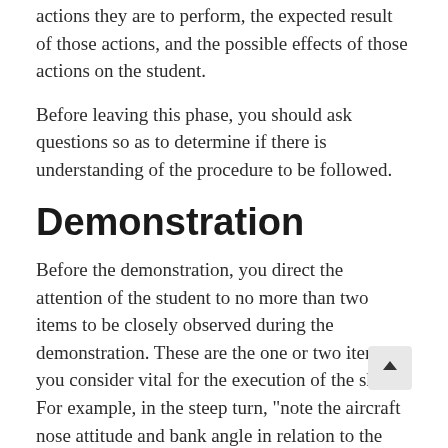actions they are to perform, the expected result of those actions, and the possible effects of those actions on the student.
Before leaving this phase, you should ask questions so as to determine if there is understanding of the procedure to be followed.
Demonstration
Before the demonstration, you direct the attention of the student to no more than two items to be closely observed during the demonstration. These are the one or two items you consider vital for the execution of the skill. For example, in the steep turn, "note the aircraft nose attitude and bank angle in relation to the horizon". Then you must show the student the actions necessary to perform the skill.